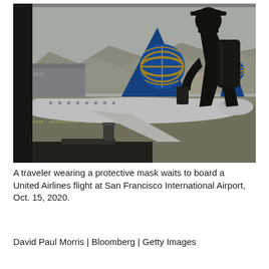[Figure (photo): A silhouetted traveler wearing a protective mask and cap, holding a phone, standing at an airport window with a United Airlines plane tail visible outside. San Francisco International Airport, Oct. 15, 2020.]
A traveler wearing a protective mask waits to board a United Airlines flight at San Francisco International Airport, Oct. 15, 2020.
David Paul Morris | Bloomberg | Getty Images